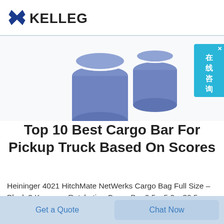KELLEG
[Figure (photo): Two blue cylindrical cargo bar end caps/plugs shown from above against a white/light background.]
Top 10 Best Cargo Bar For Pickup Truck Based On Scores
Heininger 4021 HitchMate NetWerks Cargo Bag Full Size – Black 3 Keeper – Ratcheting Cargo Bar 2 5 x 5 2 x 39 5 – Black Silver Adjustable from 40" 70" CARGO SAFETY – Keeper s Ratcheting Cargo
Get a Quote   Chat Now